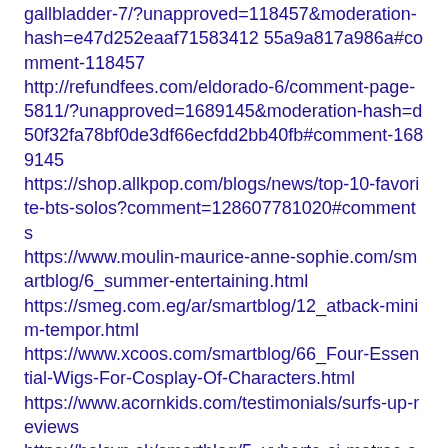gallbladder-7/?unapproved=118457&moderation-hash=e47d252eaaf71583412 55a9a817a986a#comment-118457
http://refundfees.com/eldorado-6/comment-page-5811/?unapproved=1689145&moderation-hash=d50f32fa78bf0de3df66ecfdd2bb40fb#comment-1689145
https://shop.allkpop.com/blogs/news/top-10-favorite-bts-solos?comment=128607781020#comments
https://www.moulin-maurice-anne-sophie.com/smartblog/6_summer-entertaining.html
https://smeg.com.eg/ar/smartblog/12_atback-minim-tempor.html
https://www.xcoos.com/smartblog/66_Four-Essential-Wigs-For-Cosplay-Of-Characters.html
https://www.acornkids.com/testimonials/surfs-up-reviews
https://balsyn.sk/smartblog/5_vyberte-si-matrac-spravne.html
https://jpn.itlibra.com/article?id=20911
https://www.lafabrica.com/festivalene/blogs/que-verguenza-de-paulina-flores-una-lectura-de-david-perez-